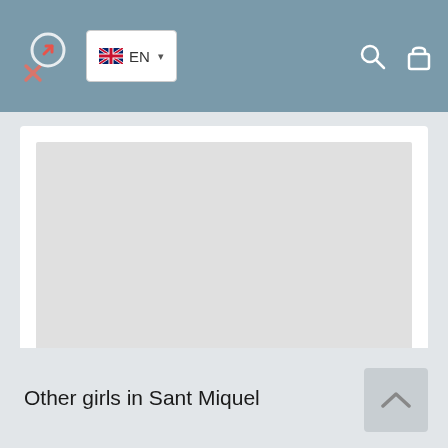EN
[Figure (screenshot): Gray placeholder image area inside a white card]
Other girls in Sant Miquel